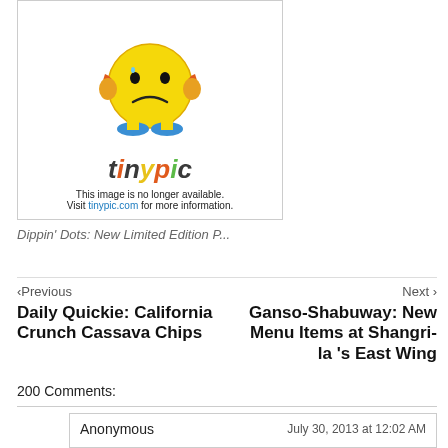[Figure (illustration): Tinypic placeholder image showing a cartoon sad face character with orange arms, blue shoes, and the 'tinypic' colorful logo below it, with text 'This image is no longer available. Visit tinypic.com for more information.']
Dippin' Dots: New Limited Edition P...
< Previous   Next >
Daily Quickie: California Crunch Cassava Chips
Ganso-Shabuway: New Menu Items at Shangri-la 's East Wing
200 Comments:
Anonymous   July 30, 2013 at 12:02 AM